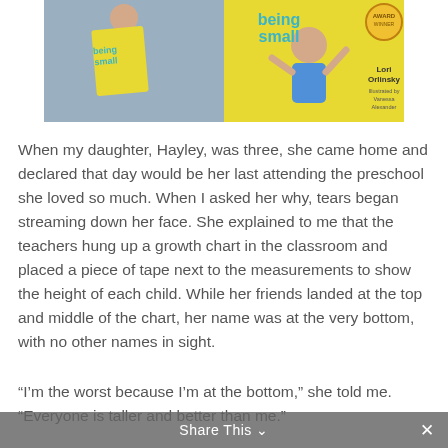[Figure (photo): A composite image showing two photos side by side: on the left, a woman and a young girl holding a yellow children's book titled 'being small'; on the right, the cover of the same book 'being small' by Lori Orlinsky, illustrated by Vanessa Alexander, showing a cartoon girl waving, with a gold award medal badge in the top-right corner.]
When my daughter, Hayley, was three, she came home and declared that day would be her last attending the preschool she loved so much. When I asked her why, tears began streaming down her face. She explained to me that the teachers hung up a growth chart in the classroom and placed a piece of tape next to the measurements to show the height of each child. While her friends landed at the top and middle of the chart, her name was at the very bottom, with no other names in sight.
“I’m the worst because I’m at the bottom,” she told me. “Everyone is taller and better than me.”
Share This